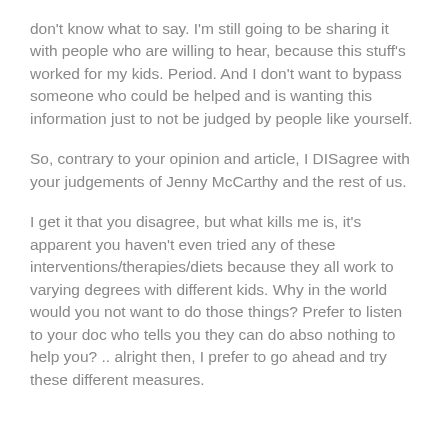don't know what to say. I'm still going to be sharing it with people who are willing to hear, because this stuff's worked for my kids. Period. And I don't want to bypass someone who could be helped and is wanting this information just to not be judged by people like yourself.
So, contrary to your opinion and article, I DISagree with your judgements of Jenny McCarthy and the rest of us.
I get it that you disagree, but what kills me is, it's apparent you haven't even tried any of these interventions/therapies/diets because they all work to varying degrees with different kids. Why in the world would you not want to do those things? Prefer to listen to your doc who tells you they can do abso nothing to help you? .. alright then, I prefer to go ahead and try these different measures.